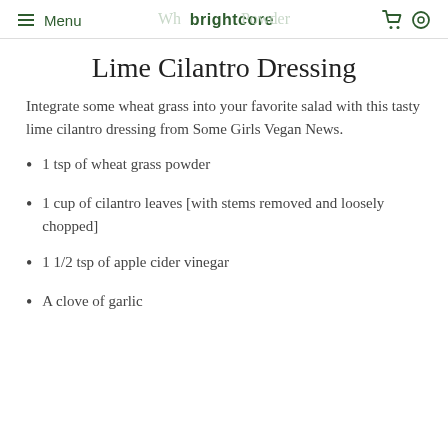Menu | brightcore
Lime Cilantro Dressing
Integrate some wheat grass into your favorite salad with this tasty lime cilantro dressing from Some Girls Vegan News.
1 tsp of wheat grass powder
1 cup of cilantro leaves [with stems removed and loosely chopped]
1 1/2 tsp of apple cider vinegar
A clove of garlic